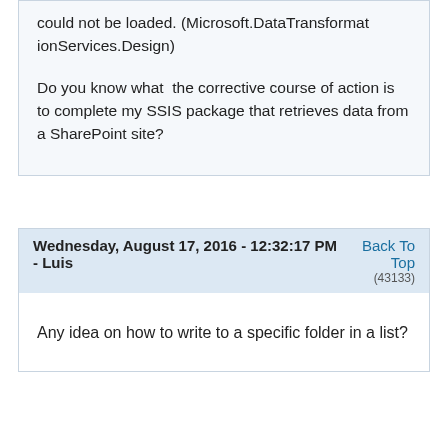could not be loaded. (Microsoft.DataTransformationServices.Design)

Do you know what  the corrective course of action is to complete my SSIS package that retrieves data from a SharePoint site?
Wednesday, August 17, 2016 - 12:32:17 PM - Luis
Back To Top (43133)
Any idea on how to write to a specific folder in a list?